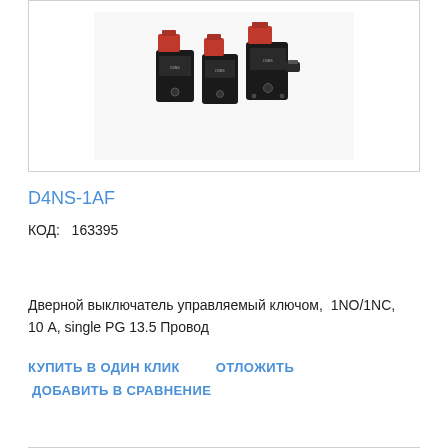[Figure (photo): Three black industrial safety door switches with red tops/actuators, product D4NS-1AF by Omron]
D4NS-1AF
КОД:   163395
Дверной выключатель управляемый ключом,  1NO/1NC,  10 А, single PG 13.5 Провод
КУПИТЬ В ОДИН КЛИК    ОТЛОЖИТЬ
ДОБАВИТЬ В СРАВНЕНИЕ